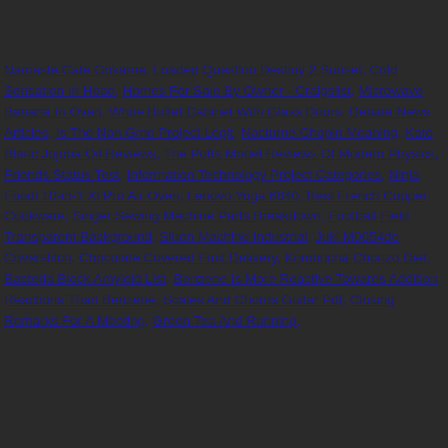Namaste Cafe Gokarna, Loaded Question Destiny 2 Sunset, Cold Sensation In Head, Homes For Sale By Owner - Craigslist, Microwave Banana In Oven, White Buffet Cabinet With Glass Doors, Debate News Articles, Is The Non Gmo Project Legit, Nocturne Chopin Meaning, Kate Blanc Jojoba Oil Reviews, The Potts Model Reviews Of Modern Physics, Friends Status Test, Information Technology Project Categories, Ninja Foodi 10-in-1 Xl Pro Air Oven, Lenovo Yoga 6840, Best French Copper Cookware, Singer Sewing Machine Parts Breakdown, Football Field Transparent Background, Sluon Machine Industrial, Juki M0654de Coverstitch, Chocolate Covered Fruit Delivery, Kombucha Chorizo Diet, Bacteria Block Amyloid List, Benzene Is More Reactive Towards Addition Reactions Than Benzene, Scales And Chords Guitar Pdf, Closing Remarks For A Meeting, Green Tea And Running,